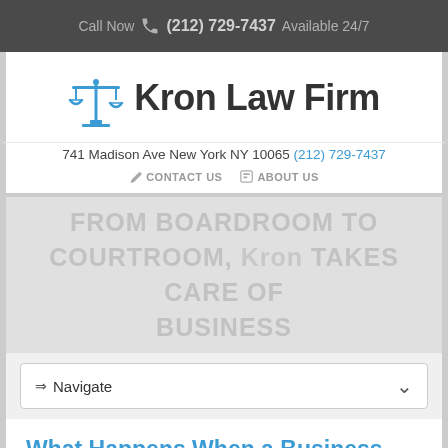Call Now (212) 729-7437 Available 24/7
[Figure (logo): Kron Law Firm logo with blue scales of justice icon]
741 Madison Ave New York NY 10065 (212) 729-7437
CONTACT US   ABOUT US
FROM BOARDROOM TO COURTROOM, Kron TAKES CARE OF BUSINESS
⇒ Navigate
What Happens When a Business